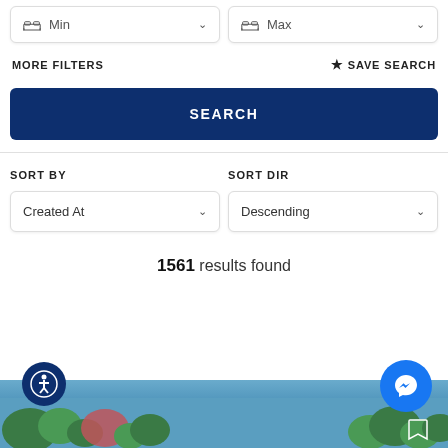[Figure (screenshot): Two dropdown selectors side by side: 'Min' (with bed icon) on the left and 'Max' (with bed icon) on the right, each with a chevron arrow, in white rounded boxes with shadows.]
MORE FILTERS
★ SAVE SEARCH
SEARCH
SORT BY
SORT DIR
Created At
Descending
1561 results found
[Figure (photo): Partial view of outdoor scene with trees and blue sky at bottom of page.]